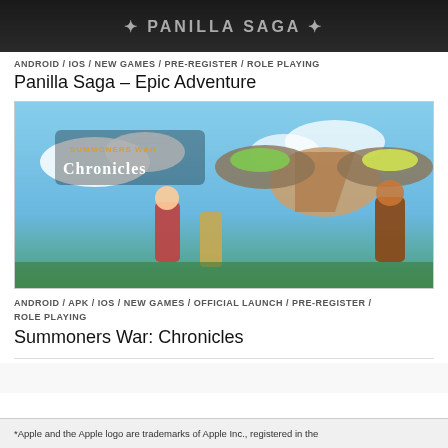[Figure (photo): Dark banner image at top of page, partially visible game promotional image]
ANDROID / IOS / NEW GAMES / PRE-REGISTER / ROLE PLAYING
Panilla Saga – Epic Adventure
[Figure (photo): Summoners War Chronicles promotional art showing fantasy characters including warriors and a griffin against a blue sky background with the game logo in the top left]
ANDROID / APK / IOS / NEW GAMES / OFFICIAL LAUNCH / PRE-REGISTER / ROLE PLAYING
Summoners War: Chronicles
*Apple and the Apple logo are trademarks of Apple Inc., registered in the